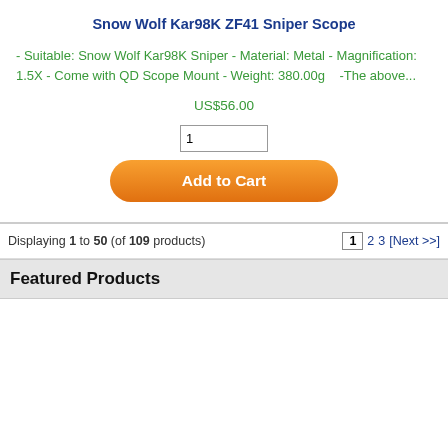Snow Wolf Kar98K ZF41 Sniper Scope
- Suitable: Snow Wolf Kar98K Sniper - Material: Metal - Magnification: 1.5X - Come with QD Scope Mount - Weight: 380.00g    -The above...
US$56.00
Displaying 1 to 50 (of 109 products)
Featured Products